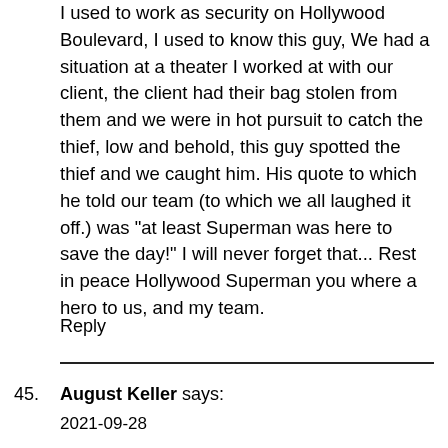I used to work as security on Hollywood Boulevard, I used to know this guy, We had a situation at a theater I worked at with our client, the client had their bag stolen from them and we were in hot pursuit to catch the thief, low and behold, this guy spotted the thief and we caught him. His quote to which he told our team (to which we all laughed it off.) was "at least Superman was here to save the day!" I will never forget that... Rest in peace Hollywood Superman you where a hero to us, and my team.
Reply
45. August Keller says:
2021-09-28
The thing that I feel was passed over or missed in this video is that "The Hollywood Superman" was